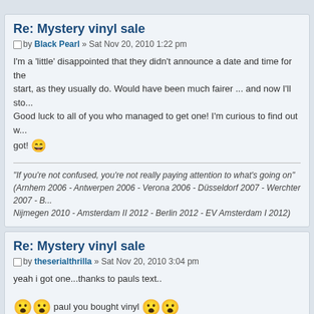Re: Mystery vinyl sale
Post by Black Pearl » Sat Nov 20, 2010 1:22 pm
I'm a 'little' disappointed that they didn't announce a date and time for the start, as they usually do. Would have been much fairer ... and now I'll sto... Good luck to all of you who managed to get one! I'm curious to find out w... got! 😄
"If you're not confused, you're not really paying attention to what's going on" (Arnhem 2006 - Antwerpen 2006 - Verona 2006 - Düsseldorf 2007 - Werchter 2007 - B... Nijmegen 2010 - Amsterdam II 2012 - Berlin 2012 - EV Amsterdam I 2012)
Re: Mystery vinyl sale
Post by theserialthrilla » Sat Nov 20, 2010 3:04 pm
yeah i got one...thanks to pauls text..
😮😮 paul you bought vinyl 😮😮
if you win that blue you sell it to me for 100% profit ok..$20 i thinks fair 😉
Re: Mystery vinyl sale